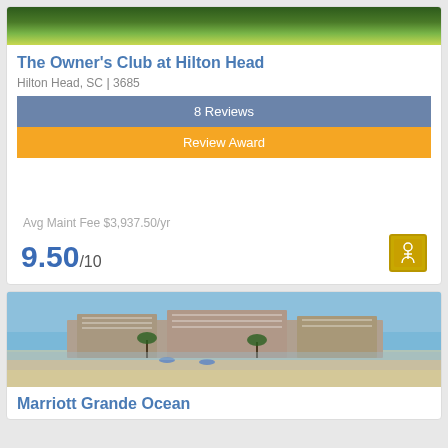[Figure (photo): Golf course green landscape photo at top of card]
The Owner's Club at Hilton Head
Hilton Head, SC | 3685
8 Reviews
Review Award
Avg Maint Fee $3,937.50/yr
9.50/10
[Figure (logo): Award icon - yellow square with stylized figure]
[Figure (photo): Marriott Grande Ocean beachfront hotel building viewed from water]
Marriott Grande Ocean